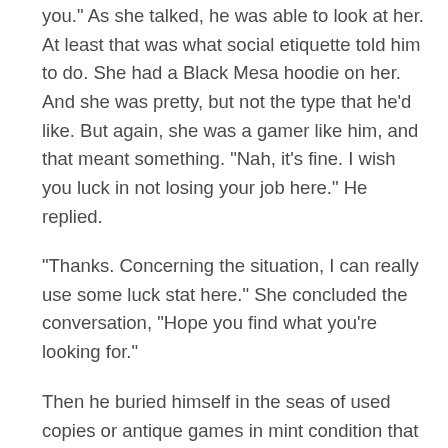you.” As she talked, he was able to look at her. At least that was what social etiquette told him to do. She had a Black Mesa hoodie on her. And she was pretty, but not the type that he’d like. But again, she was a gamer like him, and that meant something. “Nah, it’s fine. I wish you luck in not losing your job here.” He replied.
“Thanks. Concerning the situation, I can really use some luck stat here.” She concluded the conversation, “Hope you find what you’re looking for.”
Then he buried himself in the seas of used copies or antique games in mint condition that should have failed to make their way out. Only that they did here.